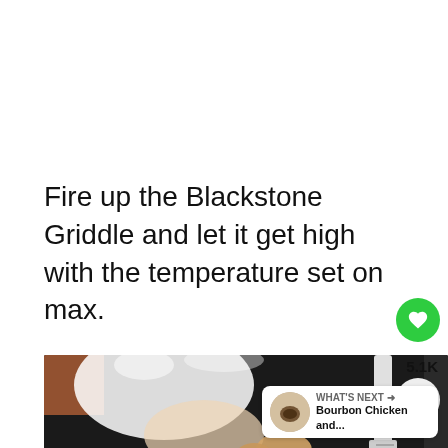Fire up the Blackstone Griddle and let it get high with the temperature set on max.
[Figure (photo): A person placing raw chicken pieces on a black Blackstone Griddle, with a white spatula visible and steam rising from the hot griddle surface.]